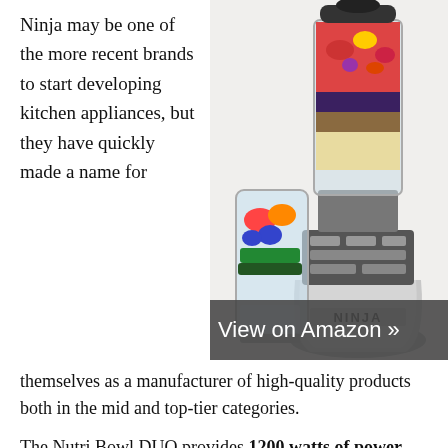Ninja may be one of the more recent brands to start developing kitchen appliances, but they have quickly made a name for
[Figure (photo): Ninja Nutri Bowl DUO blender with a tall main container filled with layered grains and fruits on top, and a smaller personal blending cup filled with colorful fruits and vegetables. A dark 'View on Amazon »' button overlay is at the bottom of the image.]
themselves as a manufacturer of high-quality products both in the mid and top-tier categories.
The Nutri Bowl DUO provides 1200 watts of power and easily copes with ice, seeds, and nuts. Its special blades fully break down the toughest ingredients, such as leafy